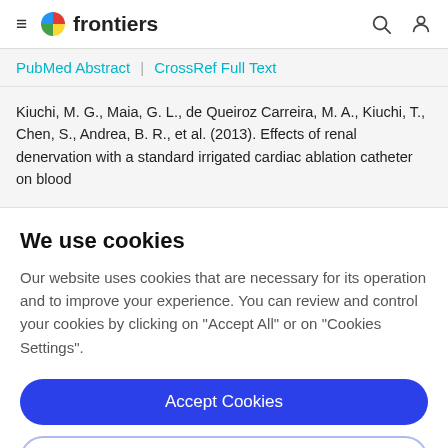frontiers
PubMed Abstract | CrossRef Full Text
Kiuchi, M. G., Maia, G. L., de Queiroz Carreira, M. A., Kiuchi, T., Chen, S., Andrea, B. R., et al. (2013). Effects of renal denervation with a standard irrigated cardiac ablation catheter on blood
We use cookies
Our website uses cookies that are necessary for its operation and to improve your experience. You can review and control your cookies by clicking on "Accept All" or on "Cookies Settings".
Accept Cookies
Cookies Settings